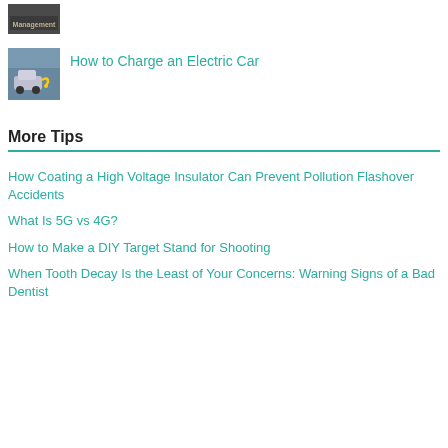[Figure (photo): Thumbnail image of a sign or building with the word 'Management' visible]
[Figure (photo): Thumbnail image of someone charging an electric car with a charging cable]
How to Charge an Electric Car
More Tips
How Coating a High Voltage Insulator Can Prevent Pollution Flashover Accidents
What Is 5G vs 4G?
How to Make a DIY Target Stand for Shooting
When Tooth Decay Is the Least of Your Concerns: Warning Signs of a Bad Dentist